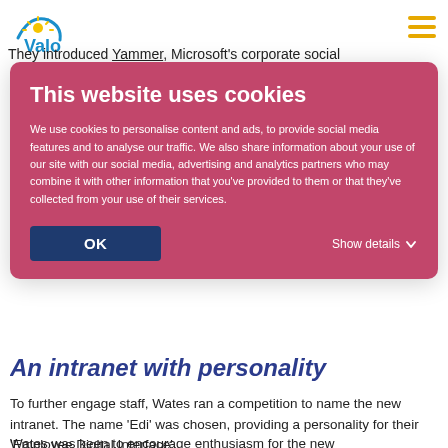They introduced Yammer, Microsoft's corporate social
[Figure (logo): Valo intranet logo with sun icon]
This website uses cookies

We use cookies to personalise content and ads, to provide social media features and to analyse our traffic. We also share information about your use of our site with our social media, advertising and analytics partners who may combine it with other information that you've provided to them or that they've collected from your use of their services.

OK    Show details
An intranet with personality
To further engage staff, Wates ran a competition to name the new intranet. The name ‘Edi’ was chosen, providing a personality for their ‘Employee Digital Interface’.
Wates was keen to encourage enthusiasm for the new